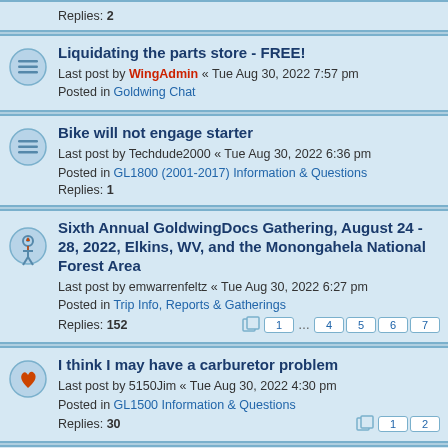Replies: 2
Liquidating the parts store - FREE!
Last post by WingAdmin « Tue Aug 30, 2022 7:57 pm
Posted in Goldwing Chat
Bike will not engage starter
Last post by Techdude2000 « Tue Aug 30, 2022 6:36 pm
Posted in GL1800 (2001-2017) Information & Questions
Replies: 1
Sixth Annual GoldwingDocs Gathering, August 24 - 28, 2022, Elkins, WV, and the Monongahela National Forest Area
Last post by emwarrenfeltz « Tue Aug 30, 2022 6:27 pm
Posted in Trip Info, Reports & Gatherings
Replies: 152
I think I may have a carburetor problem
Last post by 5150Jim « Tue Aug 30, 2022 4:30 pm
Posted in GL1500 Information & Questions
Replies: 30
Raked Triple Tree
Last post by WingAdmin « Tue Aug 30, 2022 4:00 pm
Posted in GL1500 Information & Questions
Replies: 7
1500 valve chatter
Last post by ...